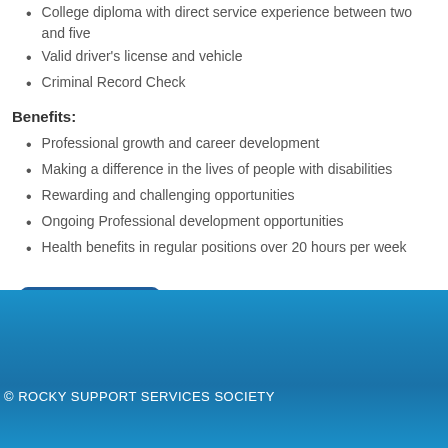College diploma with direct service experience between two and five
Valid driver's license and vehicle
Criminal Record Check
Benefits:
Professional growth and career development
Making a difference in the lives of people with disabilities
Rewarding and challenging opportunities
Ongoing Professional development opportunities
Health benefits in regular positions over 20 hours per week
[Figure (other): Apply Now button]
© ROCKY SUPPORT SERVICES SOCIETY